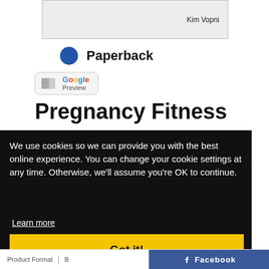[Figure (illustration): Book cover card showing author name 'Kim Vopni' in the bottom right corner, with a grayish background]
Paperback
[Figure (logo): Google Preview badge with book icon and stylized Google text in blue, red, yellow, green colors, and 'Preview' in gray below]
Pregnancy Fitness
We use cookies so we can provide you with the best online experience. You can change your cookie settings at any time. Otherwise, we'll assume you're OK to continue.
Learn more
Got it!
Product Format | B ... Facebook